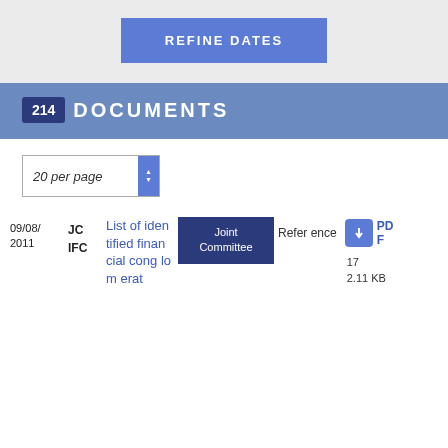[Figure (screenshot): REFINE DATES button in blue on gray background]
214 DOCUMENTS
20 per page
| Date | Code | Title | Tag | Reference | File |
| --- | --- | --- | --- | --- | --- |
| 09/08/2011 | JC IFC | List of identified financial conglomerat | Joint Committee | Reference | PDF
17
2.11 KB |